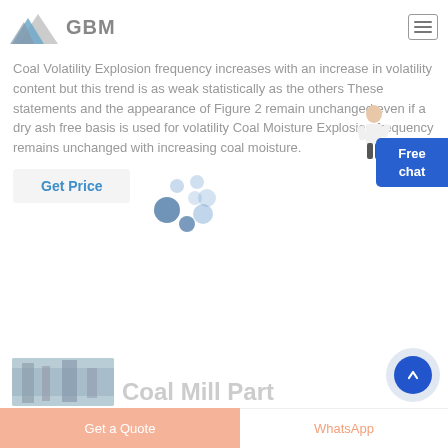GBM
Coal Volatility Explosion frequency increases with an increase in volatility content but this trend is as weak statistically as the others These statements and the appearance of Figure 2 remain unchanged even if a dry ash free basis is used for volatility Coal Moisture Explosion frequency remains unchanged with increasing coal moisture.
Get Price
[Figure (photo): Partial view of industrial coal mill equipment]
Coal Mill Part
Get a Quote   WhatsApp